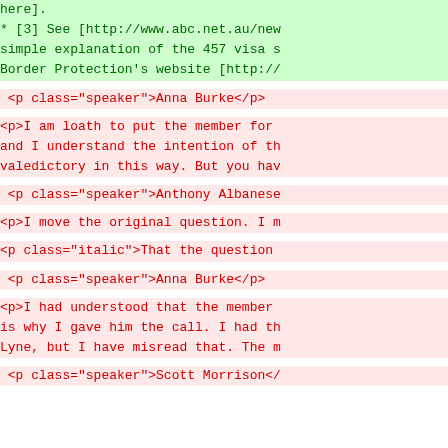here].
* [3] See [http://www.abc.net.au/new simple explanation of the 457 visa s Border Protection's website [http://
<p class="speaker">Anna Burke</p>
<p>I am loath to put the member for and I understand the intention of th valedictory in this way. But you hav
<p class="speaker">Anthony Albanese
<p>I move the original question. I m
<p class="italic">That the question
<p class="speaker">Anna Burke</p>
<p>I had understood that the member is why I gave him the call. I had th Lyne, but I have misread that. The m
<p class="speaker">Scott Morrison</